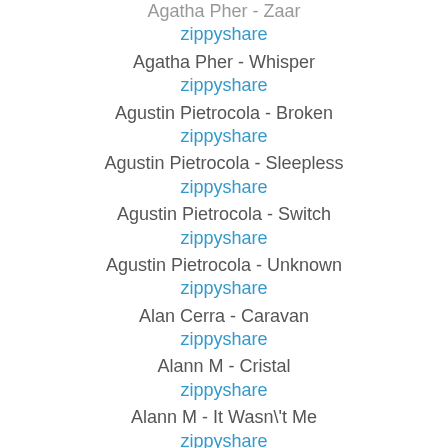Agatha Pher - Zaar
zippyshare
Agatha Pher - Whisper
zippyshare
Agustin Pietrocola - Broken
zippyshare
Agustin Pietrocola - Sleepless
zippyshare
Agustin Pietrocola - Switch
zippyshare
Agustin Pietrocola - Unknown
zippyshare
Alan Cerra - Caravan
zippyshare
Alann M - Cristal
zippyshare
Alann M - It Wasn't Me
zippyshare
Alejandro Tolosa - YOTTO
zippyshare
Alex Spite - We Are People
zippyshare
Alonso Riera - Move Back (Extended Mix)